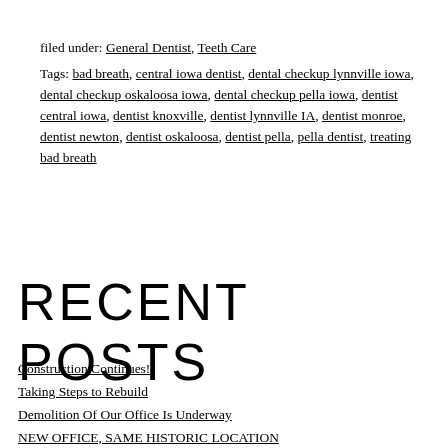filed under: General Dentist, Teeth Care
Tags: bad breath, central iowa dentist, dental checkup lynnville iowa, dental checkup oskaloosa iowa, dental checkup pella iowa, dentist central iowa, dentist knoxville, dentist lynnville IA, dentist monroe, dentist newton, dentist oskaloosa, dentist pella, pella dentist, treating bad breath
RECENT POSTS
Construction Continues!
Taking Steps to Rebuild
Demolition Of Our Office Is Underway
NEW OFFICE, SAME HISTORIC LOCATION